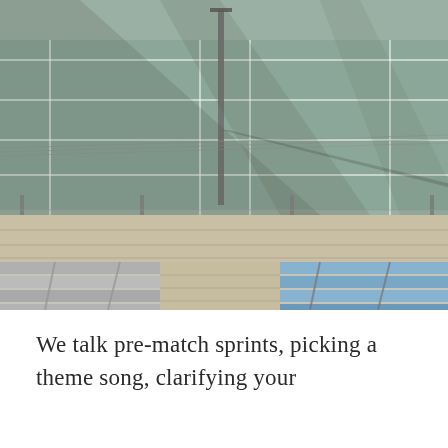[Figure (photo): Aerial/overhead view of empty outdoor tennis courts with green hard surface, a net post in the center, long shadows cast across the courts, a concrete walkway/path between courts, and bleacher seating on the left (gray) and right (blue) sides in the foreground.]
We talk pre-match sprints, picking a theme song, clarifying your